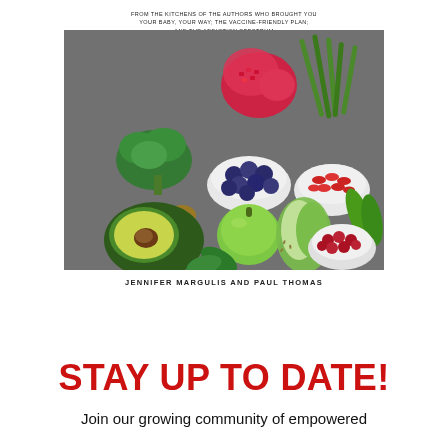FROM THE KITCHENS OF THE AUTHORS WHO BROUGHT YOU YOUR BABY, YOUR WAY; THE VACCINE-FRIENDLY PLAN; AND THE ADDICTION SPECTRUM
[Figure (photo): Overhead photo of colorful healthy foods including broccoli, pomegranate, blueberries, goji berries, avocado, green apple, green vegetables, nuts, and cranberries arranged on a dark gray surface.]
JENNIFER MARGULIS AND PAUL THOMAS
STAY UP TO DATE!
Join our growing community of empowered